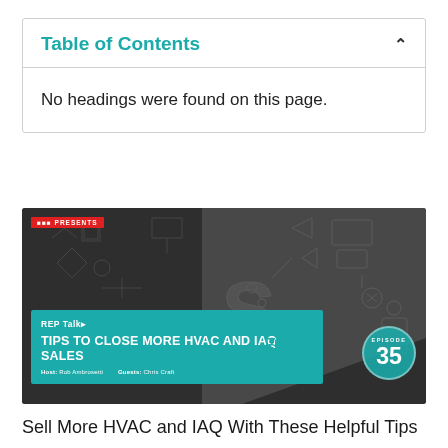Table of Contents
No headings were found on this page.
[Figure (photo): REP Talk podcast thumbnail image for Episode 35: Tips to Close More HVAC and IAQ Sales. Dark background with doodles/sketches. Teal overlay box with title text. Host: Rob Ambrosetti, Guests: Chris Craft. Episode 35 badge in bottom right.]
Sell More HVAC and IAQ With These Helpful Tips